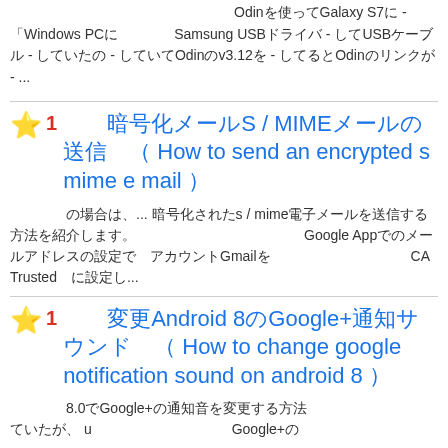downloading）　　　　　　　　　　　　　　Odinを使ってGalaxy S7に - 「Windows PCに　　　　Samsung USBドライバ - してUSBケーブル - していたの - していてOdinのv3.12を - してるとOdinのリンクが - ...
⭐1  暗号化メールS / MIMEメールの送信（ How to send an encrypted s mime e mail ）
の場合は、... 暗号化されたs / mime電子メールを送信する方法を紹介します。　　　　　　Google Appでのメールアドレスの設定で アカウントGmailを　　　　　　CA Trustedに設定し...
⭐1  変更Android 8のGoogle+通知サウンド（ How to change google notification sound on android 8 ）
8.0でGoogle+の通知音を変更する方法　　　　　　　　　　　 ていたが、 u　　　　　　のGoogle+が